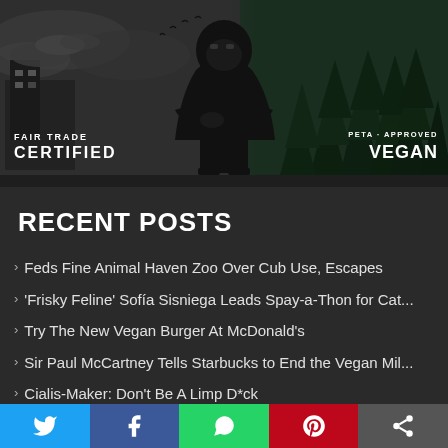[Figure (illustration): Illustrated dark banner showing a masked figure in a black hoodie with crossed arms, standing in front of a smoky industrial scene on the left (gray/dark tones) and a forest on the right (dark green tones). Birds in sky. Text overlays: 'FAIR TRADE CERTIFIED' bottom-left, 'PETA-APPROVED VEGAN' bottom-right.]
RECENT POSTS
Feds Fine Animal Haven Zoo Over Cub Use, Escapes
'Frisky Feline' Sofía Sisniega Leads Spay-a-Thon for Cat...
Try The New Vegan Burger At McDonald's
Sir Paul McCartney Tells Starbucks to End the Vegan Mil...
Cialis-Maker: Don't Be A Limp D*ck
Screeching PETA 'Owls' to Call Out Johns Hopkins Presi...
Associated Food Stores Drops Coconut Milk Tied to Mon...